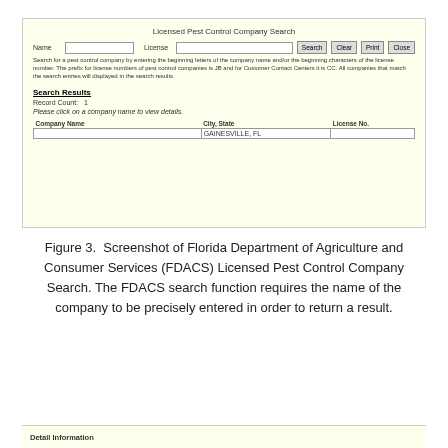[Figure (screenshot): Screenshot of Florida Department of Agriculture and Consumer Services (FDACS) Licensed Pest Control Company Search web interface. Shows a search form with Name and License fields, Search/Clear/Print/Close buttons, a description of how to search, and Search Results section showing Record Count: 1 with a table listing Company Name, City State, License No. columns with one row showing GAINESVILLE, FL in the City State field.]
Figure 3. Screenshot of Florida Department of Agriculture and Consumer Services (FDACS) Licensed Pest Control Company Search. The FDACS search function requires the name of the company to be precisely entered in order to return a result.
Detail Information